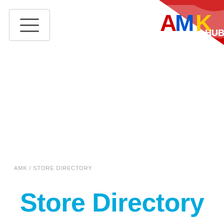[Figure (logo): AMK Hub logo in top right corner with red triangular background, showing AMK in red/yellow/blue and HUB text]
AMK / STORE DIRECTORY
Store Directory